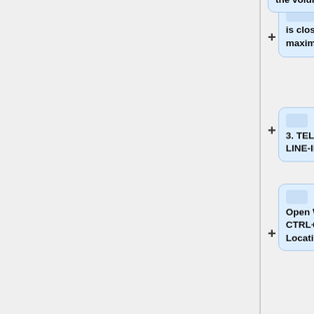is close to, or at, the maximum.  Hit OK.
3. TELL WINAMP TO USE LINE-IN
Open Winamp, and hit CTRL+L (the "Open Location" hotkey).  Now
type in "linein://" as the location you want to open. (Leave out
the quotes and